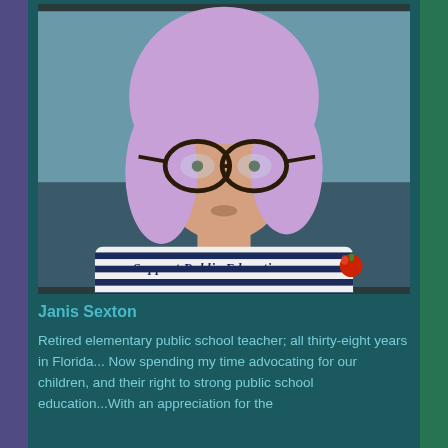[Figure (photo): Portrait photo of an older woman with short purple/lavender hair and large black-rimmed glasses, wearing a navy and white striped shirt that reads 'Support Public Education' with a red apple emoji. Background is blurred teal/blue.]
Janis Sexton
Retired elementary public school teacher; all thirty-eight years in Florida... Now spending my time advocating for our children, and their right to strong public school education...With an appreciation for the